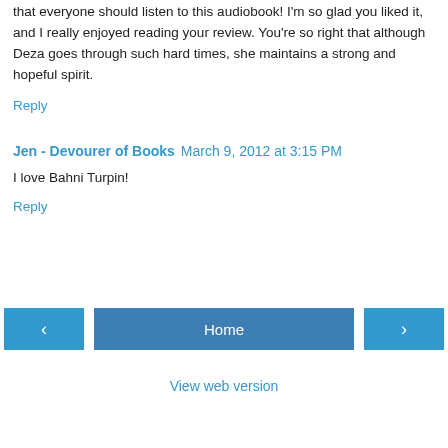that everyone should listen to this audiobook! I'm so glad you liked it, and I really enjoyed reading your review. You're so right that although Deza goes through such hard times, she maintains a strong and hopeful spirit.
Reply
Jen - Devourer of Books  March 9, 2012 at 3:15 PM
I love Bahni Turpin!
Reply
Home   View web version